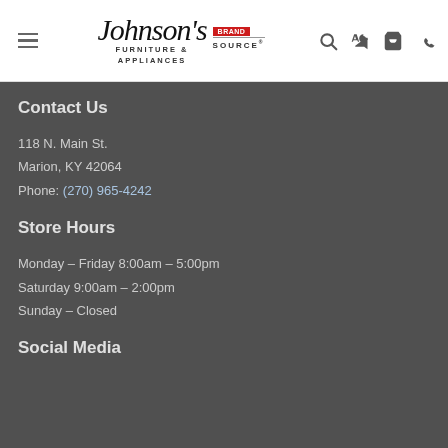[Figure (logo): Johnson's Furniture & Appliances with Brand Source logo in website header navigation bar]
Contact Us
118 N. Main St.
Marion, KY 42064
Phone: (270) 965-4242
Store Hours
Monday – Friday 8:00am – 5:00pm
Saturday 9:00am – 2:00pm
Sunday – Closed
Social Media